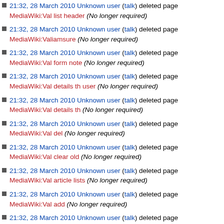21:32, 28 March 2010 Unknown user (talk) deleted page MediaWiki:Val list header (No longer required)
21:32, 28 March 2010 Unknown user (talk) deleted page MediaWiki:Valiamsure (No longer required)
21:32, 28 March 2010 Unknown user (talk) deleted page MediaWiki:Val form note (No longer required)
21:32, 28 March 2010 Unknown user (talk) deleted page MediaWiki:Val details th user (No longer required)
21:32, 28 March 2010 Unknown user (talk) deleted page MediaWiki:Val details th (No longer required)
21:32, 28 March 2010 Unknown user (talk) deleted page MediaWiki:Val del (No longer required)
21:32, 28 March 2010 Unknown user (talk) deleted page MediaWiki:Val clear old (No longer required)
21:32, 28 March 2010 Unknown user (talk) deleted page MediaWiki:Val article lists (No longer required)
21:32, 28 March 2010 Unknown user (talk) deleted page MediaWiki:Val add (No longer required)
21:32, 28 March 2010 Unknown user (talk) deleted page MediaWiki:Userstatstext (No longer required)
21:32, 28 March 2010 Unknown user (talk) deleted page MediaWiki:Userstats (No longer required)
21:32, 28 March 2010 Unknown user (talk) deleted page